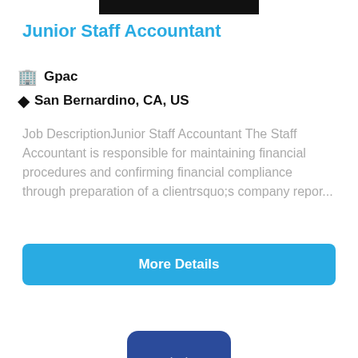[Figure (other): Black bar at top of card (partially cropped image/logo placeholder)]
Junior Staff Accountant
Gpac
San Bernardino, CA, US
Job DescriptionJunior Staff Accountant The Staff Accountant is responsible for maintaining financial procedures and confirming financial compliance through preparation of a clientrsquo;s company repor...
More Details
NEW
[Figure (logo): Blue rounded square logo with white gear/settings icon]